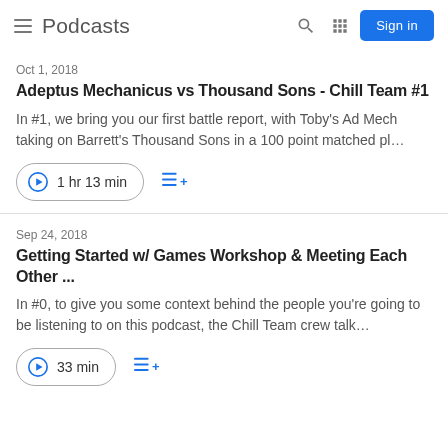Podcasts
Oct 1, 2018
Adeptus Mechanicus vs Thousand Sons - Chill Team #1
In #1, we bring you our first battle report, with Toby's Ad Mech taking on Barrett's Thousand Sons in a 100 point matched pl…
1 hr 13 min
Sep 24, 2018
Getting Started w/ Games Workshop & Meeting Each Other ...
In #0, to give you some context behind the people you're going to be listening to on this podcast, the Chill Team crew talk…
33 min